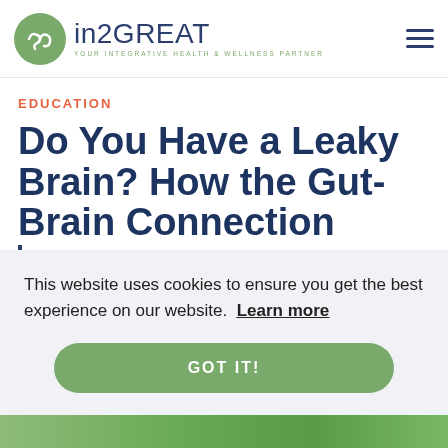in2GREAT — YOUR INTEGRATIVE HEALTH & WELLNESS PARTNER
EDUCATION
Do You Have a Leaky Brain? How the Gut-Brain Connection Impacts Your Health
This website uses cookies to ensure you get the best experience on our website. Learn more
GOT IT!